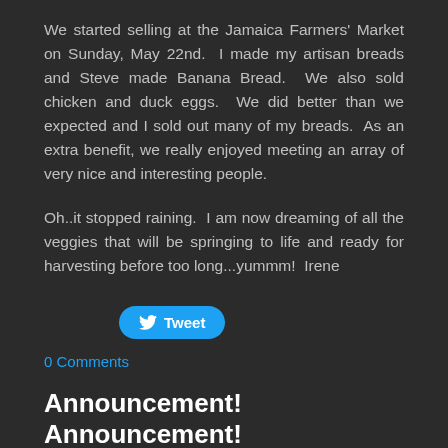We started selling at the Jamaica Farmers' Market on Sunday, May 22nd.  I made my artisan breads and Steve made Banana Bread.  We also sold chicken and duck eggs.  We did better than we expected and I sold out many of my breads.  As an extra benefit, we really enjoyed meeting an array of very nice and interesting people.
Oh..it stopped raining.  I am now dreaming of all the veggies that will be springing to life and ready for harvesting before too long...yummm!  Irene
[Figure (screenshot): Tweet button with Twitter bird icon]
0 Comments
Announcement! Announcement!
1/9/2011
0 Comments
I am pleased to announce that Annie and Jacob, Sophia and Fin are expecting kids this May.  It looks like I'm going to be a Nanny